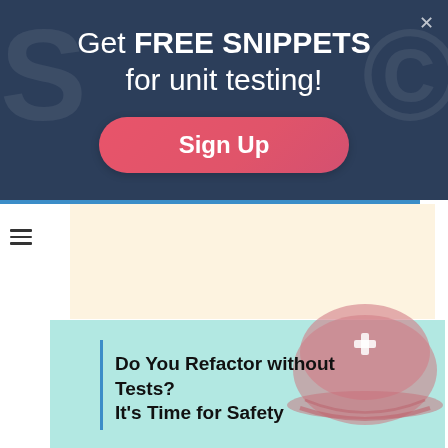[Figure (screenshot): Website modal popup banner with dark navy background, decorative faint letter shapes, heading text 'Get FREE SNIPPETS for unit testing!', a pink rounded Sign Up button, and a close X button top right]
Get FREE SNIPPETS for unit testing!
Sign Up
[Figure (illustration): Safety helmet (hard hat) illustration in muted pink/red tones with a white plus/cross symbol on front, shown on a light teal background]
Do You Refactor without Tests? It's Time for Safety